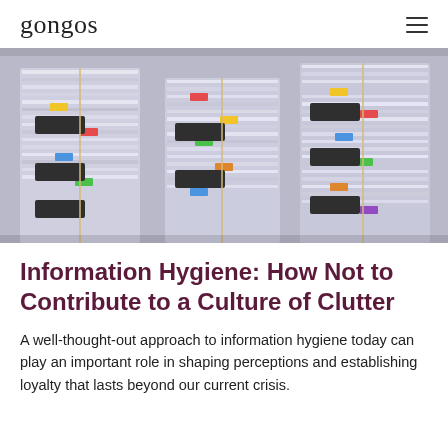gongos
[Figure (photo): Stacks of paper files bundled with string, piled high on a desk, suggesting information overload and clutter.]
Information Hygiene: How Not to Contribute to a Culture of Clutter
A well-thought-out approach to information hygiene today can play an important role in shaping perceptions and establishing loyalty that lasts beyond our current crisis.